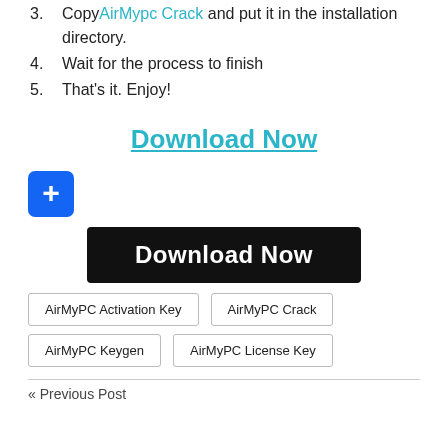3. Copy AirMypc Crack and put it in the installation directory.
4. Wait for the process to finish
5. That’s it. Enjoy!
Download Now
[Figure (other): Blue square button with a white plus sign]
Download Now
AirMyPC Activation Key  AirMyPC Crack  AirMyPC Keygen  AirMyPC License Key
« Previous Post